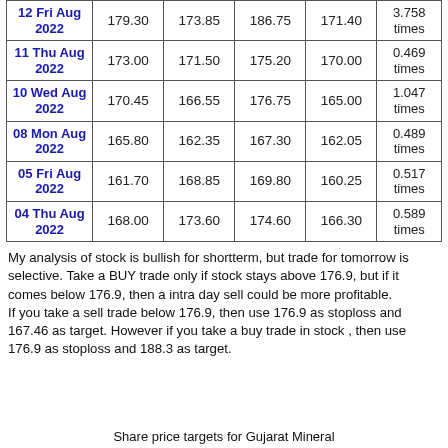| Date | Open | Close | High | Low | Volume |
| --- | --- | --- | --- | --- | --- |
| 12 Fri Aug 2022 | 179.30 | 173.85 | 186.75 | 171.40 | 3.758 times |
| 11 Thu Aug 2022 | 173.00 | 171.50 | 175.20 | 170.00 | 0.469 times |
| 10 Wed Aug 2022 | 170.45 | 166.55 | 176.75 | 165.00 | 1.047 times |
| 08 Mon Aug 2022 | 165.80 | 162.35 | 167.30 | 162.05 | 0.489 times |
| 05 Fri Aug 2022 | 161.70 | 168.85 | 169.80 | 160.25 | 0.517 times |
| 04 Thu Aug 2022 | 168.00 | 173.60 | 174.60 | 166.30 | 0.589 times |
My analysis of stock is bullish for shortterm, but trade for tomorrow is selective. Take a BUY trade only if stock stays above 176.9, but if it comes below 176.9, then a intra day sell could be more profitable. If you take a sell trade below 176.9, then use 176.9 as stoploss and 167.46 as target. However if you take a buy trade in stock , then use 176.9 as stoploss and 188.3 as target.
Share price targets for Gujarat Mineral